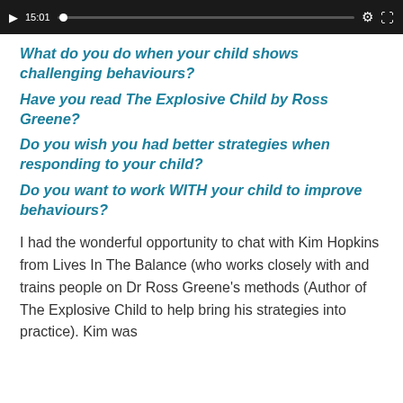[Figure (screenshot): Video player bar showing play button, timestamp 15:01, progress track with dot, settings gear icon and fullscreen icon on dark background]
What do you do when your child shows challenging behaviours?
Have you read The Explosive Child by Ross Greene?
Do you wish you had better strategies when responding to your child?
Do you want to work WITH your child to improve behaviours?
I had the wonderful opportunity to chat with Kim Hopkins from Lives In The Balance (who works closely with and trains people on Dr Ross Greene's methods (Author of The Explosive Child to help bring his strategies into practice). Kim was